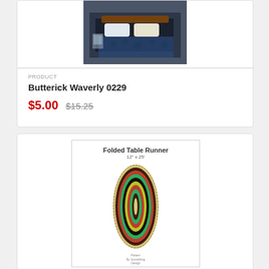[Figure (photo): Product photo of Butterick Waverly 0229 bedding set with dark floral pattern on a bed with pillows and decorative items]
PRODUCT
Butterick Waverly 0229
$5.00 $15.25
[Figure (photo): Product image of a folded table runner pattern, 12 inches by 25 inches, showing an oval braided rug design with colorful concentric rings in red, green, yellow, and brown]